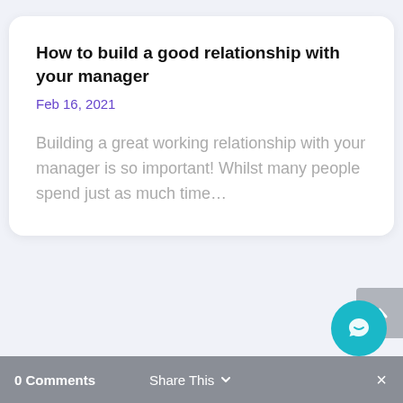How to build a good relationship with your manager
Feb 16, 2021
Building a great working relationship with your manager is so important! Whilst many people spend just as much time...
0 Comments   Share This   ×